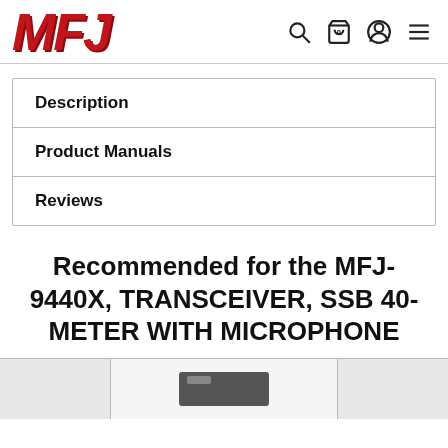MFJ
Description
Product Manuals
Reviews
Recommended for the MFJ-9440X, TRANSCEIVER, SSB 40-METER WITH MICROPHONE
[Figure (photo): Product image strip showing partial product photos at bottom of page]